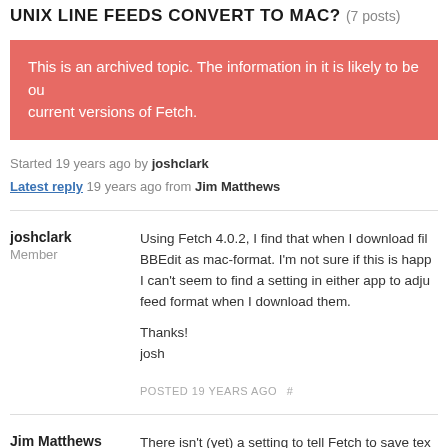UNIX LINE FEEDS CONVERT TO MAC? (7 posts)
This is an archived topic. The information in it is likely to be out of date for current versions of Fetch.
Started 19 years ago by joshclark
Latest reply 19 years ago from Jim Matthews
joshclark
Member
Using Fetch 4.0.2, I find that when I download files BBEdit as mac-format. I'm not sure if this is happening, I can't seem to find a setting in either app to adjust, feed format when I download them.

Thanks!
josh
POSTED 19 YEARS AGO #
Jim Matthews
Administrator
There isn't (yet) a setting to tell Fetch to save text, download mode to "Binary" and that will stop any